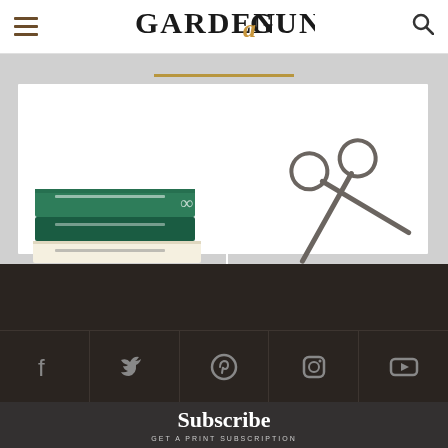GARDEN&GUN
[Figure (photo): Shelf with stacked books and vintage scissors on white surface]
[Figure (logo): Garden & Gun logo in white on dark brown background]
[Figure (infographic): Social media icons: Facebook, Twitter, Pinterest, Instagram, YouTube]
Subscribe
GET A PRINT SUBSCRIPTION